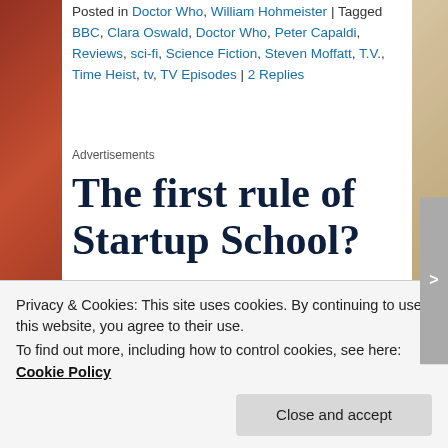Posted in Doctor Who, William Hohmeister | Tagged BBC, Clara Oswald, Doctor Who, Peter Capaldi, Reviews, sci-fi, Science Fiction, Steven Moffatt, T.V., Time Heist, tv, TV Episodes | 2 Replies
Advertisements
[Figure (other): Advertisement with large bold serif text reading 'The first rule of Startup School?' in dark navy on white background]
Privacy & Cookies: This site uses cookies. By continuing to use this website, you agree to their use.
To find out more, including how to control cookies, see here: Cookie Policy
Close and accept